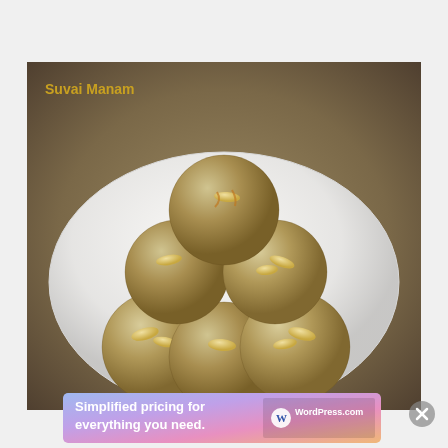[Figure (photo): A photo of Indian sweet ladoo balls (made from semolina/rava) garnished with cashew nuts, piled on a white plate. Watermark text 'Suvai Manam' appears in the top-left corner of the photo.]
Advertisements
[Figure (other): WordPress.com advertisement banner with gradient background reading 'Simplified pricing for everything you need.' with WordPress.com logo on the right.]